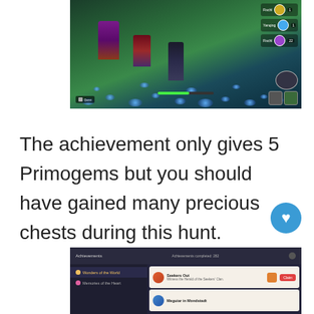[Figure (screenshot): Genshin Impact gameplay screenshot showing characters on a glowing blue field with UI elements including health bar, character portraits, and minimap]
The achievement only gives 5 Primogems but you should have gained many precious chests during this hunt.
[Figure (screenshot): Genshin Impact achievements menu showing 'Wonders of the World' and 'Memories of the Heart' categories on the left, and achievement cards including 'Seekers Out' with a Claim button and 'Meguiar in Mondstadt' on the right]